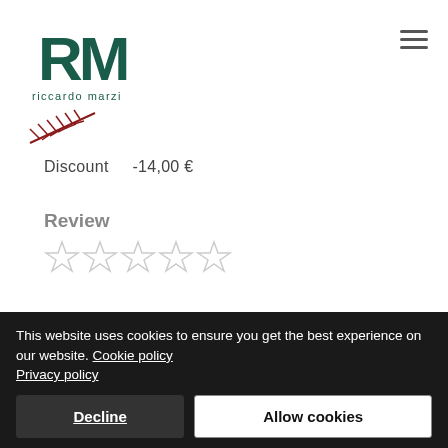[Figure (logo): RM Riccardo Marzi logo with decorative plant/feather graphic below]
Discount    -14,00 €
Review
[Figure (other): Five empty star rating icons]
[Figure (other): Quantity selector with +/- buttons and Add to Cart button inside a rounded box]
This website uses cookies to ensure you get the best experience on our website. Cookie policy Privacy policy
Decline
Allow cookies